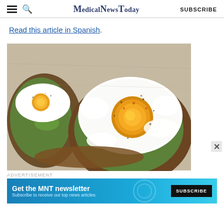MedicalNewsToday  SUBSCRIBE
Read this article in Spanish.
[Figure (photo): Overhead close-up photo of avocado toast with fried eggs on whole grain bread, sprinkled with pepper and spices, on a light background]
ADVERTISEMENT
Get the MNT newsletter
Subscribe to receive our top news articles.
SUBSCRIBE